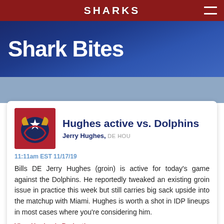SHARKS
Shark Bites
Hughes active vs. Dolphins
Jerry Hughes, DE HOU
11:11am EST 11/17/19
Bills DE Jerry Hughes (groin) is active for today's game against the Dolphins. He reportedly tweaked an existing groin issue in practice this week but still carries big sack upside into the matchup with Miami. Hughes is worth a shot in IDP lineups in most cases where you're considering him.
View Hughes's Projections » View all Jerry Hughes Shark Bites »